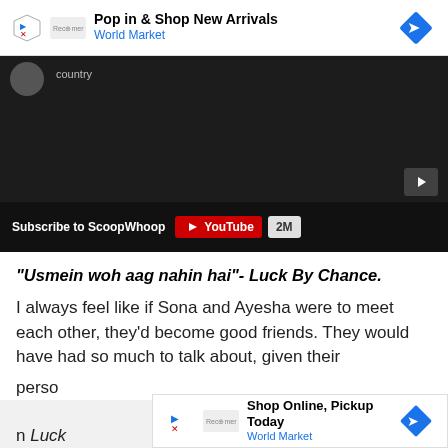[Figure (screenshot): Advertisement banner: Pop in & Shop New Arrivals - World Market with blue diamond logo]
[Figure (screenshot): YouTube video embed showing dark video player with text 'country', Subscribe to ScoopWhoop YouTube button with 2M subscribers]
"Usmein woh aag nahin hai"- Luck By Chance.
I always feel like if Sona and Ayesha were to meet each other, they'd become good friends. They would have had so much to talk about, given their person... n Luck By Ch... with
[Figure (screenshot): Advertisement banner: Shop Online, Pickup Today - World Market with blue diamond logo]